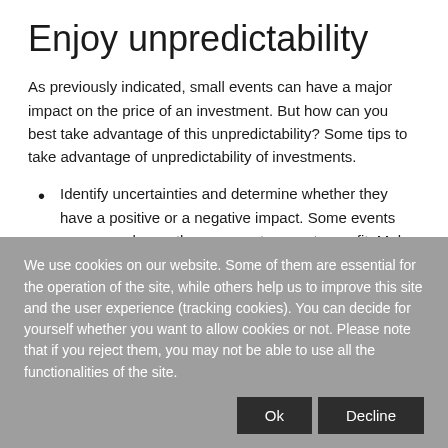Enjoy unpredictability
As previously indicated, small events can have a major impact on the price of an investment. But how can you best take advantage of this unpredictability? Some tips to take advantage of unpredictability of investments.
Identify uncertainties and determine whether they have a positive or a negative impact. Some events can cause loss, others generate an extra profit. Make sure you are exposed to uncertainties that have a possible positive outcome and minimize exposure to uncertainties with an expected
We use cookies on our website. Some of them are essential for the operation of the site, while others help us to improve this site and the user experience (tracking cookies). You can decide for yourself whether you want to allow cookies or not. Please note that if you reject them, you may not be able to use all the functionalities of the site.